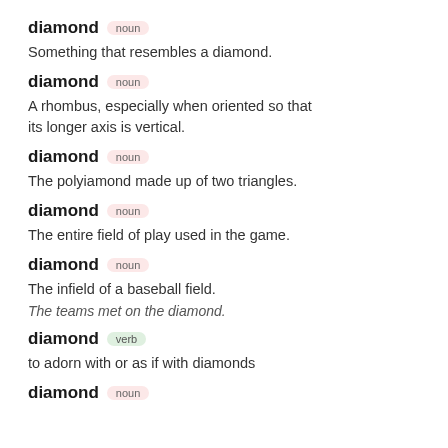diamond [noun] Something that resembles a diamond.
diamond [noun] A rhombus, especially when oriented so that its longer axis is vertical.
diamond [noun] The polyiamond made up of two triangles.
diamond [noun] The entire field of play used in the game.
diamond [noun] The infield of a baseball field. Example: The teams met on the diamond.
diamond [verb] to adorn with or as if with diamonds
diamond [noun]